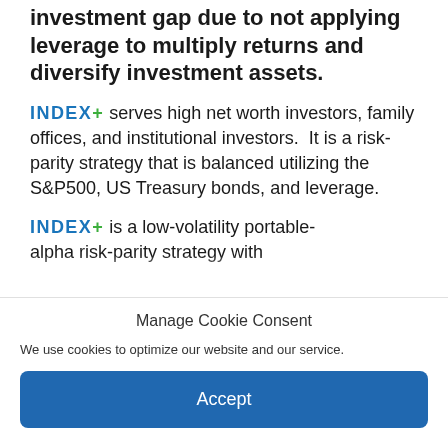investment gap due to not applying leverage to multiply returns and diversify investment assets.
INDEX+ serves high net worth investors, family offices, and institutional investors. It is a risk-parity strategy that is balanced utilizing the S&P500, US Treasury bonds, and leverage.
INDEX+ is a low-volatility portable-alpha risk-parity strategy with...
Manage Cookie Consent
We use cookies to optimize our website and our service.